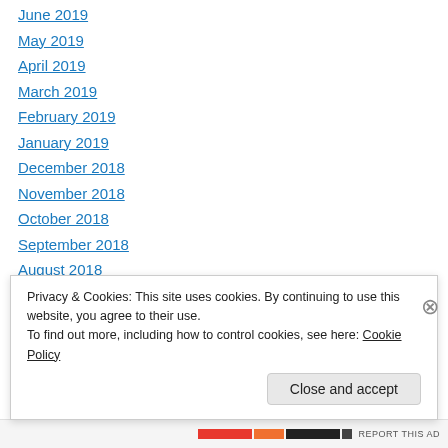June 2019
May 2019
April 2019
March 2019
February 2019
January 2019
December 2018
November 2018
October 2018
September 2018
August 2018
July 2018
May 2018
Privacy & Cookies: This site uses cookies. By continuing to use this website, you agree to their use.
To find out more, including how to control cookies, see here: Cookie Policy